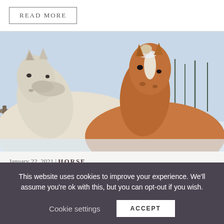READ MORE
[Figure (photo): Two horses in a snowy winter setting. A white/light-colored horse is in the foreground on the left, and a brown horse with a white blaze on its face is visible behind on the right. Snow-covered trees visible in background.]
January 22, 2021 | HORSE
Cold Comfort - Feeding Your Horse in Winter
This website uses cookies to improve your experience. We'll assume you're ok with this, but you can opt-out if you wish.
Cookie settings
ACCEPT